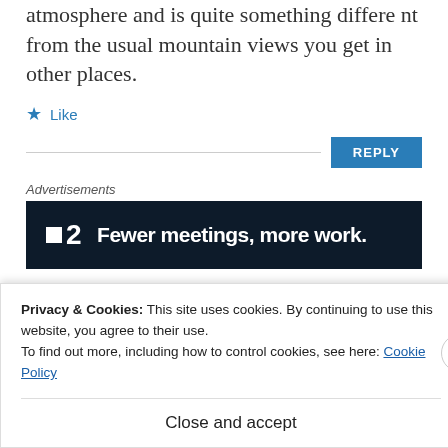atmosphere and is quite something differe nt from the usual mountain views you get in other places.
★ Like
REPLY
Advertisements
[Figure (screenshot): Advertisement banner: dark navy background with white logo '■2' and bold white text 'Fewer meetings, more work.']
Privacy & Cookies: This site uses cookies. By continuing to use this website, you agree to their use.
To find out more, including how to control cookies, see here: Cookie Policy
Close and accept